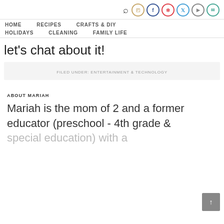Navigation icons: search, instagram, facebook, pinterest, twitter, youtube, email
HOME  RECIPES  CRAFTS & DIY  HOLIDAYS  CLEANING  FAMILY LIFE
let's chat about it!
FILED UNDER: ENTERTAINMENT & TECHNOLOGY
ABOUT MARIAH
Mariah is the mom of 2 and a former educator (preschool - 4th grade & special education) with a